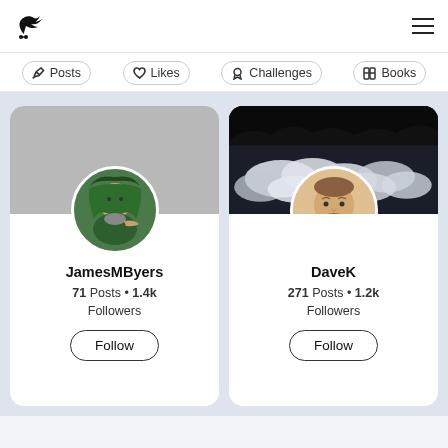Crow app logo and hamburger menu
Posts
Likes
Challenges
Books
[Figure (photo): Profile card for JamesMByers: grey cover photo, circular avatar of bearded man in green hood]
JamesMByers
71 Posts • 1.4k Followers
Follow
[Figure (photo): Profile card for DaveK: dark stormy clouds cover photo, circular avatar of young man with beard]
DaveK
271 Posts • 1.2k Followers
Follow